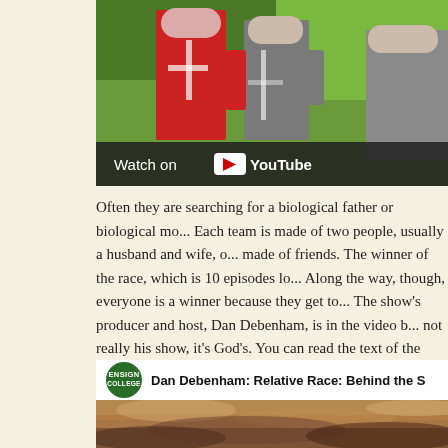[Figure (screenshot): YouTube video thumbnail showing people in red and grey racing suits, with 'Watch on YouTube' overlay bar at the bottom]
Often they are searching for a biological father or biological mo... Each team is made of two people, usually a husband and wife, o... made of friends. The winner of the race, which is 10 episodes lo... Along the way, though, everyone is a winner because they get to... The show's producer and host, Dan Debenham, is in the video b... not really his show, it's God's. You can read the text of the talk h...
[Figure (screenshot): YouTube video embed showing Ensign College logo and title 'Dan Debenham: Relative Race: Behind the S...' with a dramatic sky thumbnail]